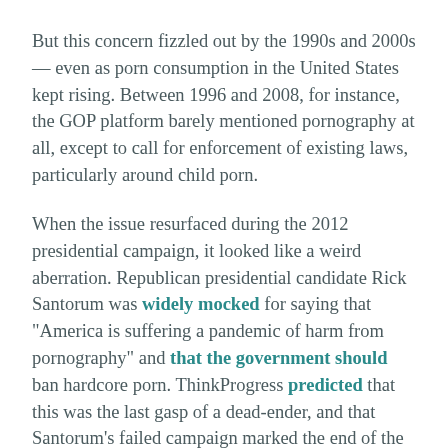But this concern fizzled out by the 1990s and 2000s — even as porn consumption in the United States kept rising. Between 1996 and 2008, for instance, the GOP platform barely mentioned pornography at all, except to call for enforcement of existing laws, particularly around child porn.
When the issue resurfaced during the 2012 presidential campaign, it looked like a weird aberration. Republican presidential candidate Rick Santorum was widely mocked for saying that "America is suffering a pandemic of harm from pornography" and that the government should ban hardcore porn. ThinkProgress predicted that this was the last gasp of a dead-ender, and that Santorum's failed campaign marked the end of the